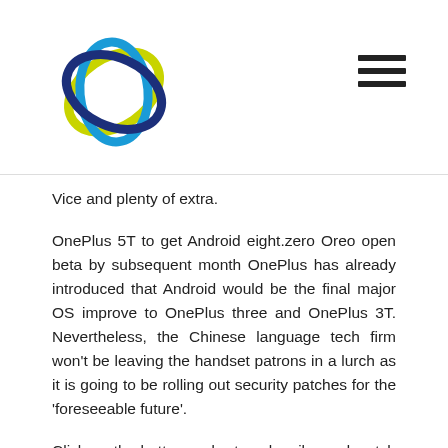[Logo and navigation header]
Vice and plenty of extra.
OnePlus 5T to get Android eight.zero Oreo open beta by subsequent month OnePlus has already introduced that Android would be the final major OS improve to OnePlus three and OnePlus 3T. Nevertheless, the Chinese language tech firm won't be leaving the handset patrons in a lurch as it is going to be rolling out security patches for the 'foreseeable future'.
Click on the button under to subscribe and watch for a new Facebook message from the TC Messenger news bot. The # 1 tech news app – menawarkan cakupan berita harian paling komprehensif dari ratusan berlisensi &